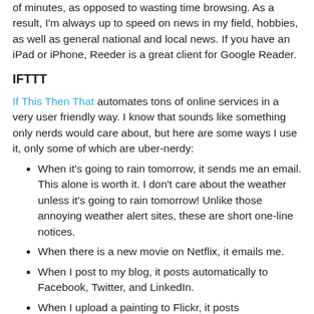of minutes, as opposed to wasting time browsing.  As a result, I'm always up to speed on news in my field, hobbies, as well as general national and local news.  If you have an iPad or iPhone, Reeder is a great client for Google Reader.
IFTTT
If This Then That automates tons of online services in a very user friendly way.  I know that sounds like something only nerds would care about, but here are some ways I use it, only some of which are uber-nerdy:
When it's going to rain tomorrow, it sends me an email.  This alone is worth it.  I don't care about the weather unless it's going to rain tomorrow!  Unlike those annoying weather alert sites, these are short one-line notices.
When there is a new movie on Netflix, it emails me.
When I post to my blog, it posts automatically to Facebook, Twitter, and LinkedIn.
When I upload a painting to Flickr, it posts